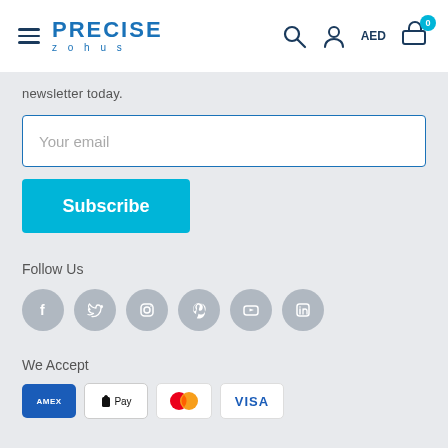PRECISE
newsletter today.
Your email
Subscribe
Follow Us
[Figure (other): Social media icons: Facebook, Twitter, Instagram, Pinterest, YouTube, LinkedIn]
We Accept
[Figure (other): Payment method icons: Amex, Apple Pay, Mastercard, Visa]